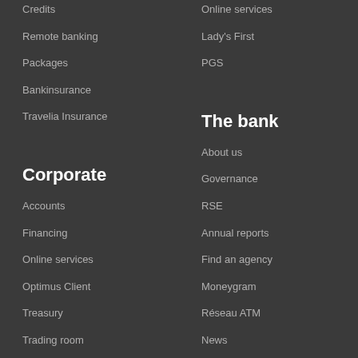Credits
Remote banking
Packages
Bankinsurance
Travelia Insurance
Online services
Lady's First
PGS
Corporate
The bank
Accounts
Financing
Online services
Optimus Client
Treasury
Trading room
About us
Governance
RSE
Annual reports
Find an agency
Moneygram
Réseau ATM
News